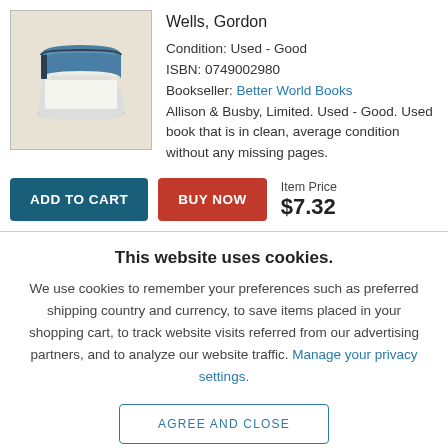[Figure (illustration): Illustration of a stack of books with blue cover on top, on a beige/cream background]
Wells, Gordon
Condition: Used - Good
ISBN: 0749002980
Bookseller: Better World Books
Allison & Busby, Limited. Used - Good. Used book that is in clean, average condition without any missing pages.
ADD TO CART
BUY NOW
Item Price $7.32
This website uses cookies.
We use cookies to remember your preferences such as preferred shipping country and currency, to save items placed in your shopping cart, to track website visits referred from our advertising partners, and to analyze our website traffic. Manage your privacy settings.
AGREE AND CLOSE